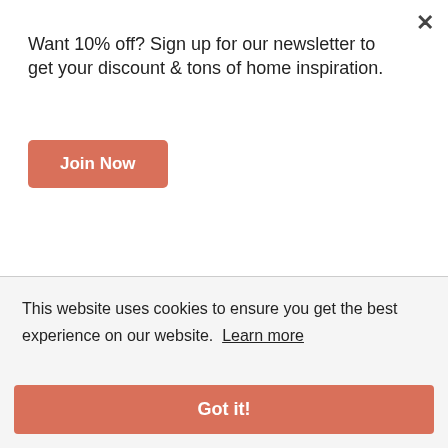Want 10% off? Sign up for our newsletter to get your discount & tons of home inspiration.
Join Now
[Figure (illustration): Green square book cover with white cursive text reading 'Café de la Semaine']
USD
+
This website uses cookies to ensure you get the best experience on our website. Learn more
Got it!